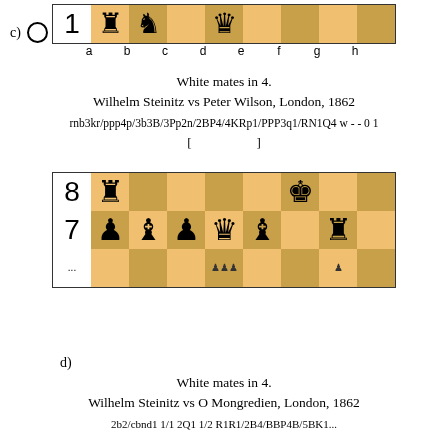[Figure (other): Chess board diagram c) showing position with White rook on a1, knight on b1, queen on d1, and black king on h1 area. Partial board showing rank 1 and file labels a-h.]
White mates in 4.
Wilhelm Steinitz vs Peter Wilson, London, 1862
rnb3kr/ppp4p/3b3B/3Pp2n/2BP4/4KRp1/PPP3q1/RN1Q4 w - - 0 1
[                    ]
[Figure (other): Chess board diagram d) partial view showing ranks 7 and 8 with black pieces: rook a8, king f8, pawns and bishops on rank 7.]
d)
White mates in 4.
Wilhelm Steinitz vs O Mongredien, London, 1862